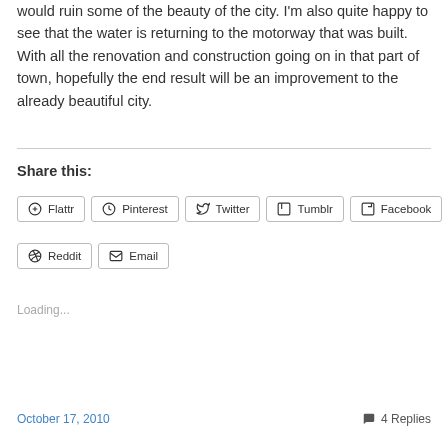would ruin some of the beauty of the city. I'm also quite happy to see that the water is returning to the motorway that was built. With all the renovation and construction going on in that part of town, hopefully the end result will be an improvement to the already beautiful city.
Share this:
Flattr  Pinterest  Twitter  Tumblr  Facebook  Reddit  Email
Loading...
October 17, 2010   4 Replies